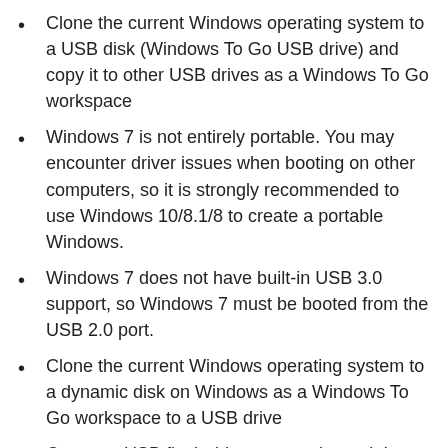Clone the current Windows operating system to a USB disk (Windows To Go USB drive) and copy it to other USB drives as a Windows To Go workspace
Windows 7 is not entirely portable. You may encounter driver issues when booting on other computers, so it is strongly recommended to use Windows 10/8.1/8 to create a portable Windows.
Windows 7 does not have built-in USB 3.0 support, so Windows 7 must be booted from the USB 2.0 port.
Clone the current Windows operating system to a dynamic disk on Windows as a Windows To Go workspace to a USB drive
Common USB flash drives are prolonged. It takes a long time to install and run Windows from a normal USB flash drive. It is strongly recommended to use a USB hard drive, a Windows To Go certified drive, or a